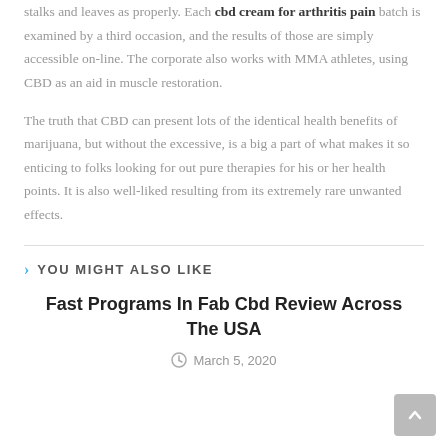stalks and leaves as properly. Each cbd cream for arthritis pain batch is examined by a third occasion, and the results of those are simply accessible on-line. The corporate also works with MMA athletes, using CBD as an aid in muscle restoration.
The truth that CBD can present lots of the identical health benefits of marijuana, but without the excessive, is a big a part of what makes it so enticing to folks looking for out pure therapies for his or her health points. It is also well-liked resulting from its extremely rare unwanted effects.
YOU MIGHT ALSO LIKE
Fast Programs In Fab Cbd Review Across The USA
March 5, 2020